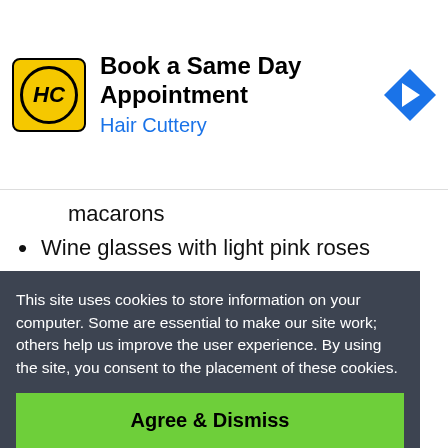[Figure (other): Hair Cuttery advertisement banner: 'Book a Same Day Appointment' with HC logo and navigation arrow icon]
macarons
Wine glasses with light pink roses
Petals and diamonds
“Dior” labeled ribbons and paper bags for party favors
7. Louis Vuitton
This site uses cookies to store information on your computer. Some are essential to make our site work; others help us improve the user experience. By using the site, you consent to the placement of these cookies.
or
Agree & Dismiss